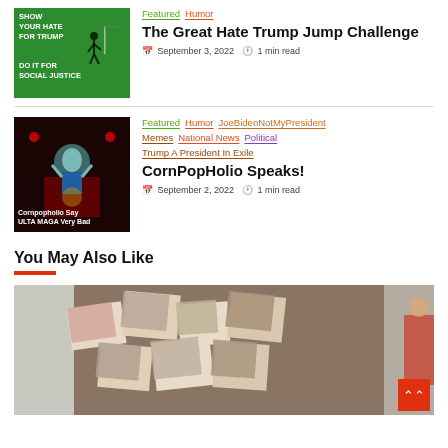[Figure (photo): Green poster with text 'SHOW YOUR HATE FOR TRUMP' and 'DO IT FOR SOCIAL JUSTICE' with figure jumping]
Featured | Humor
The Great Hate Trump Jump Challenge
September 3, 2022 | 1 min read
[Figure (photo): Dark image with cartoon character, text 'Cornpopholio Say ULTA MAGA Very Bad']
Featured | Humor | JoeBidenNotMyPresident | Memes | National News | Political | Trump A President In Exile
CornPopHolio Speaks!
September 2, 2022 | 1 min read
You May Also Like
[Figure (photo): Photo collage scattered photographs of people on a surface]